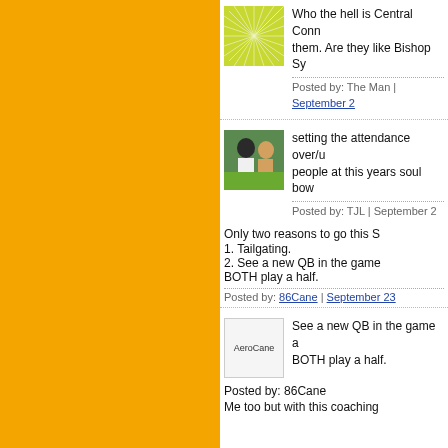[Figure (illustration): Green sunburst/radial pattern avatar]
Who the hell is Central Conn... them. Are they like Bishop Sy...
Posted by: The Man | September 2...
[Figure (photo): Photo of two people outdoors]
setting the attendance over/u... people at this years soul bow...
Posted by: TJL | September 2...
Only two reasons to go this S...
1. Tailgating.
2. See a new QB in the game... BOTH play a half.
Posted by: 86Cane | September 23...
[Figure (illustration): AeroCane avatar image]
See a new QB in the game a... BOTH play a half.
Posted by: 86Cane
Me too but with this coaching...